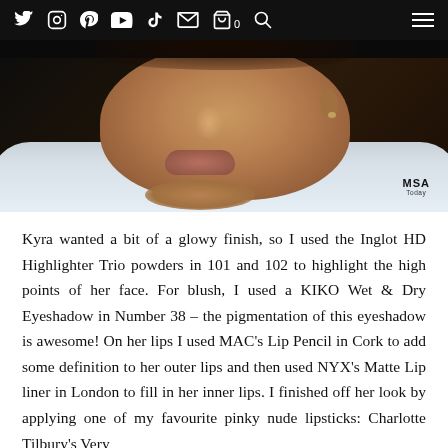Navigation bar with social media icons: Twitter, Instagram, Pinterest, YouTube, TikTok, Email, Cart (0), Search, and Hamburger menu
[Figure (photo): Close-up portrait photo of a woman with brown skin, wearing a white fluffy/textured jacket or robe. The photo shows her face from chin to just above the nose, with a soft makeup look. An MSA watermark logo is visible in the lower right corner of the image.]
Kyra wanted a bit of a glowy finish, so I used the Inglot HD Highlighter Trio powders in 101 and 102 to highlight the high points of her face. For blush, I used a KIKO Wet & Dry Eyeshadow in Number 38 – the pigmentation of this eyeshadow is awesome! On her lips I used MAC's Lip Pencil in Cork to add some definition to her outer lips and then used NYX's Matte Lip liner in London to fill in her inner lips. I finished off her look by applying one of my favourite pinky nude lipsticks: Charlotte Tilbury's Very